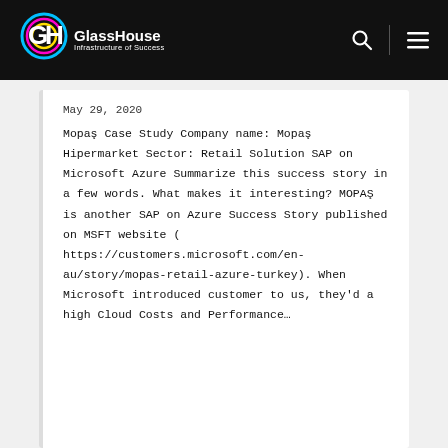[Figure (logo): GlassHouse Infrastructure of Success logo with colorful circular icon and white text on black navbar]
May 29, 2020
Mopaş Case Study Company name: Mopaş Hipermarket Sector: Retail Solution SAP on Microsoft Azure Summarize this success story in a few words. What makes it interesting? MOPAŞ is another SAP on Azure Success Story published on MSFT website ( https://customers.microsoft.com/en-au/story/mopas-retail-azure-turkey). When Microsoft introduced customer to us, they'd a high Cloud Costs and Performance…